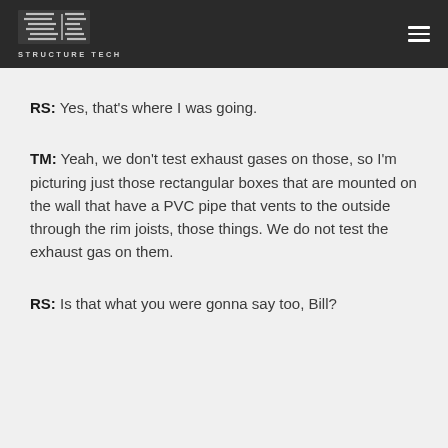STRUCTURE TECH
RS: Yes, that's where I was going.
TM: Yeah, we don't test exhaust gases on those, so I'm picturing just those rectangular boxes that are mounted on the wall that have a PVC pipe that vents to the outside through the rim joists, those things. We do not test the exhaust gas on them.
RS: Is that what you were gonna say too, Bill?